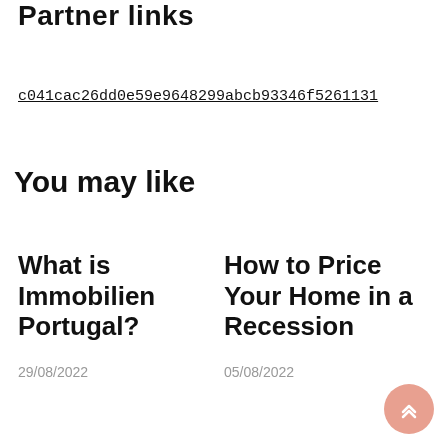Partner links
c041cac26dd0e59e9648299abcb93346f5261131
You may like
What is Immobilien Portugal?
29/08/2022
How to Price Your Home in a Recession
05/08/2022